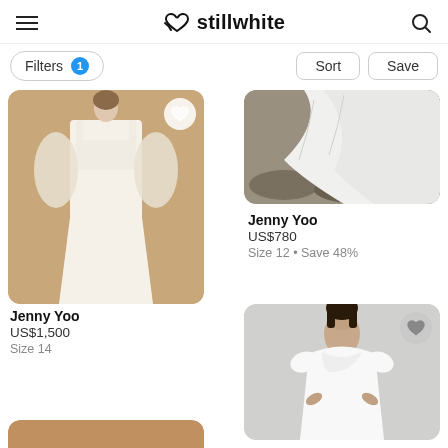stillwhite
Filters 1   Sort   Save
[Figure (photo): Wedding dress with square neckline and sheer long sleeves on a tan background]
Jenny Yoo
US$1,500
Size 14
[Figure (photo): Close-up of flowing white dress skirt outdoors on rocky ground]
Jenny Yoo
US$780
Size 12 • Save 48%
[Figure (photo): White satin cowl-neck cap sleeve dress on gray background]
[Figure (photo): Partial view of tan/brown dress bottom]